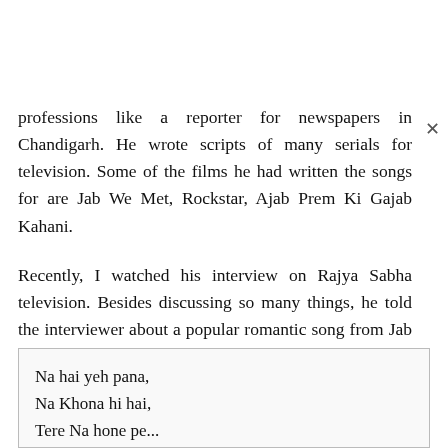professions like a reporter for newspapers in Chandigarh. He wrote scripts of many serials for television. Some of the films he had written the songs for are Jab We Met, Rockstar, Ajab Prem Ki Gajab Kahani.
Recently, I watched his interview on Rajya Sabha television. Besides discussing so many things, he told the interviewer about a popular romantic song from Jab We Met. He met a woman who told him that she listens this song daily in the morning as a prayer song. Just have a look at the lyrics.
Na hai yeh pana,
Na Khona hi hai,
Tere Na hone pe...